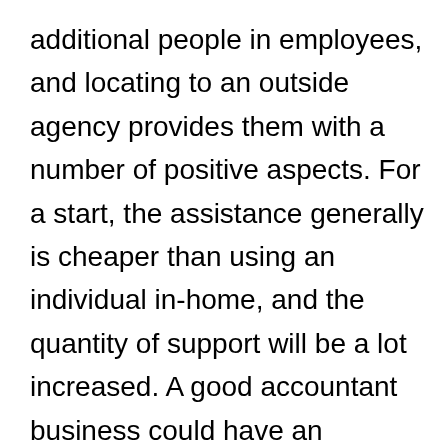additional people in employees, and locating to an outside agency provides them with a number of positive aspects. For a start, the assistance generally is cheaper than using an individual in-home, and the quantity of support will be a lot increased. A good accountant business could have an extremely professional group of certified, certified pros who understand all facets of tax regulation. In the matter of data processing applications, the company should be able to keep protected publications online, with superior software created in-residence. The charges can vary